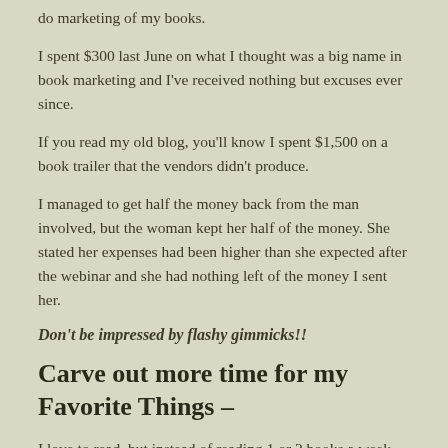do marketing of my books.
I spent $300 last June on what I thought was a big name in book marketing and I've received nothing but excuses ever since.
If you read my old blog, you'll know I spent $1,500 on a book trailer that the vendors didn't produce.
I managed to get half the money back from the man involved, but the woman kept her half of the money. She stated her expenses had been higher than she expected after the webinar and she had nothing left of the money I sent her.
Don't be impressed by flashy gimmicks!!
Carve out more time for my Favorite Things –
I love to read, but instead of reading 1 or 2 books a week over the past two years, I've struggled to find the time to read 1 or 2 a month. It's way past time for me to go back to enjoying the things I like, how